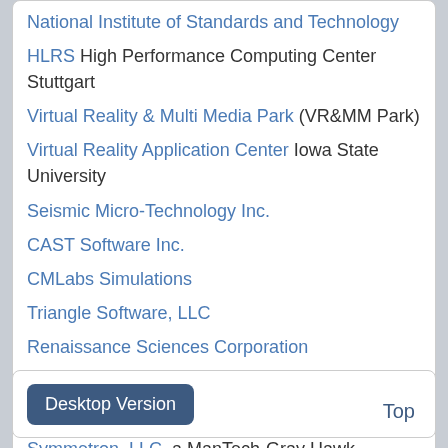National Institute of Standards and Technology
HLRS High Performance Computing Center Stuttgart
Virtual Reality & Multi Media Park (VR&MM Park)
Virtual Reality Application Center Iowa State University
Seismic Micro-Technology Inc.
CAST Software Inc.
CMLabs Simulations
Triangle Software, LLC
Renaissance Sciences Corporation
Mekensleep
Delta3D
Symmetron, LLC, a ManTech-Gray Hawk company located in Fairfax VA
SPARTA, Inc., located in Huntsville AL
Desktop Version
Top